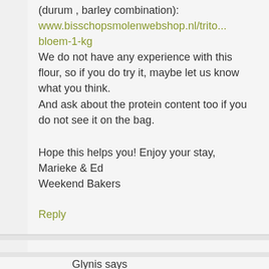(durum , barley combination):
www.bisschopsmolenwebshop.nl/trito...bloem-1-kg
We do not have any experience with this flour, so if you do try it, maybe let us know what you think.
And ask about the protein content too if you do not see it on the bag.
Hope this helps you! Enjoy your stay,
Marieke & Ed
Weekend Bakers
Reply
Glynis says